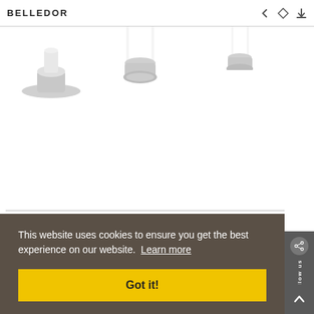BELLEDOR
[Figure (photo): Partial product photo of chrome/white bathroom tub/shower mixer faucet set, showing chrome bases and white porcelain handles on white background]
631.40.100.xxx-AA
Tub/shower mixer set deck mount with porcelain handles
PRODUCT DETAILS
This website uses cookies to ensure you get the best experience on our website. Learn more
Got it!